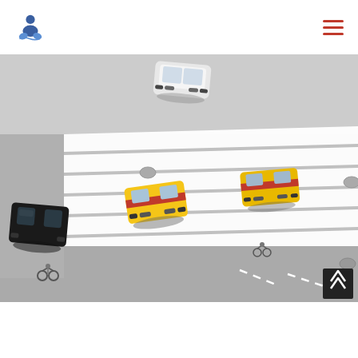Navigation header with logo and hamburger menu
[Figure (photo): Aerial view of a city crosswalk/intersection with cars including two yellow taxis with red stripes, a white car, and a black car, along with cyclists, shot from above on a zebra crossing.]